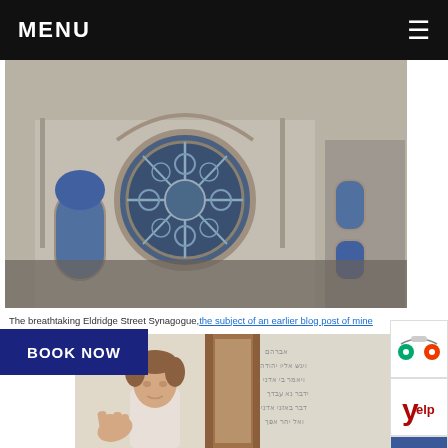MENU ☰
[Figure (photo): Exterior photo of Eldridge Street Synagogue showing ornate rose window and stone facade]
The breathtaking Eldridge Street Synagogue, the subject of an earlier blog post of mine
[Figure (logo): TripAdvisor logo icon]
[Figure (logo): Yelp logo icon]
[Figure (logo): Facebook logo icon]
[Figure (logo): Instagram logo icon]
[Figure (photo): Photo of a young male tour guide inside the Eldridge Street Synagogue gesturing toward Hebrew inscriptions on the wall]
BOOK NOW